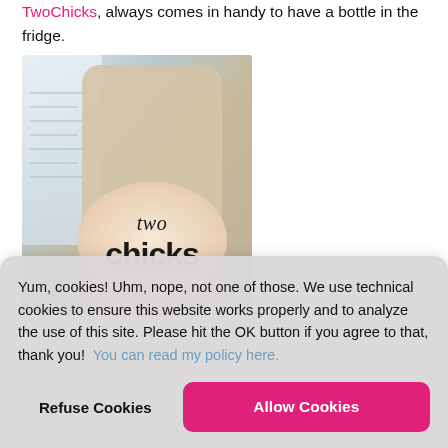TwoChicks, always comes in handy to have a bottle in the fridge.
[Figure (photo): Close-up photo of a Two Chicks liquid egg white bottle with a pink oval label showing 'two chicks' branding, next to a measuring cup, on a kitchen counter.]
Yum, cookies! Uhm, nope, not one of those. We use technical cookies to ensure this website works properly and to analyze the use of this site. Please hit the OK button if you agree to that, thank you!  You can read my policy here.
Refuse Cookies
Allow Cookies